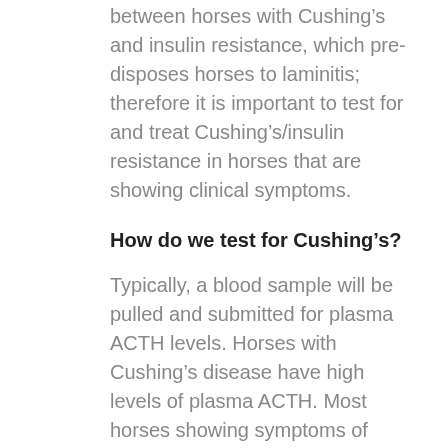between horses with Cushing's and insulin resistance, which pre-disposes horses to laminitis; therefore it is important to test for and treat Cushing's/insulin resistance in horses that are showing clinical symptoms.
How do we test for Cushing's?
Typically, a blood sample will be pulled and submitted for plasma ACTH levels. Horses with Cushing's disease have high levels of plasma ACTH. Most horses showing symptoms of Cushing's can be diagnosed with this test, however, plasma ACTH levels can fluctuate with the season. From Mid-July to Mid-December, normal horses will experience a spike in plasma ACTH levels. Horses with Cushing's disease will also experience this seasonal spike;